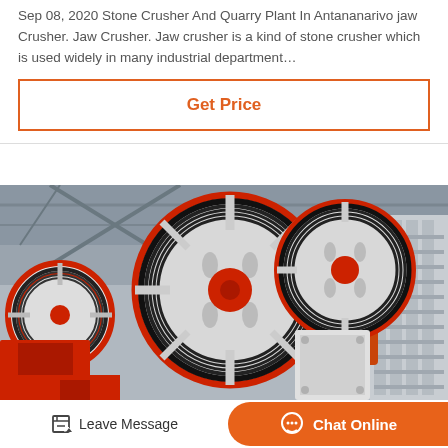Sep 08, 2020 Stone Crusher And Quarry Plant In Antananarivo jaw Crusher. Jaw Crusher. Jaw crusher is a kind of stone crusher which is used widely in many industrial department…
Get Price
[Figure (photo): Industrial jaw crusher machine with large red and white flywheels with black belts in a manufacturing facility]
Leave Message
Chat Online